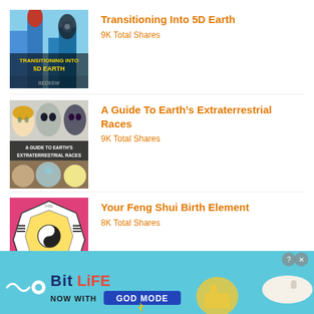Transitioning Into 5D Earth
9K Total Shares
A Guide To Earth’s Extraterrestrial Races
9K Total Shares
Your Feng Shui Birth Element
8K Total Shares
[Figure (screenshot): BitLife advertisement banner with 'NOW WITH GOD MODE' text on a cyan background with illustrated hands and a yellow thumbs-up]